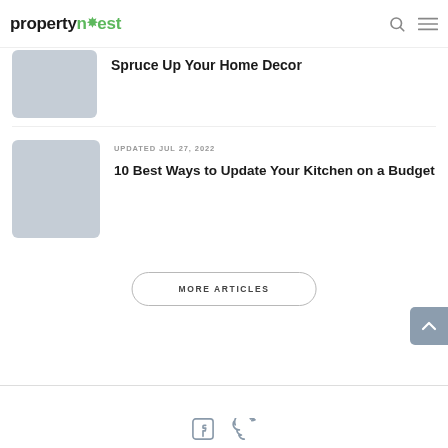propertynest
Spruce Up Your Home Decor
UPDATED JUL 27, 2022
10 Best Ways to Update Your Kitchen on a Budget
MORE ARTICLES
Facebook Twitter social icons